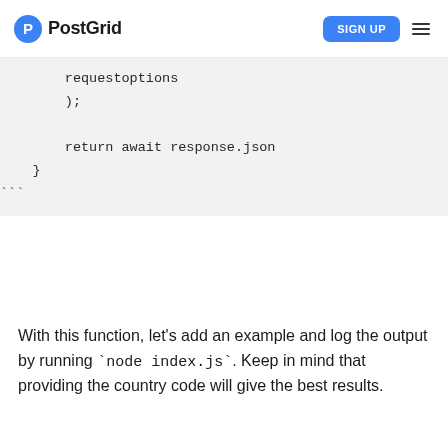PostGrid | SIGN UP
requestoptions
        );

        return await response.json
    }
```
With this function, let’s add an example and log the output by running `node index.js`. Keep in mind that providing the country code will give the best results.